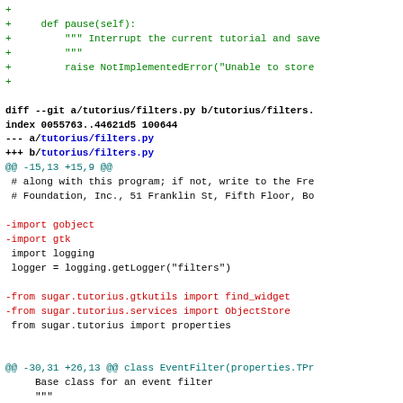Code diff showing changes to tutorius/filters.py including removal of gobject, gtk, find_widget, ObjectStore imports and next_state property